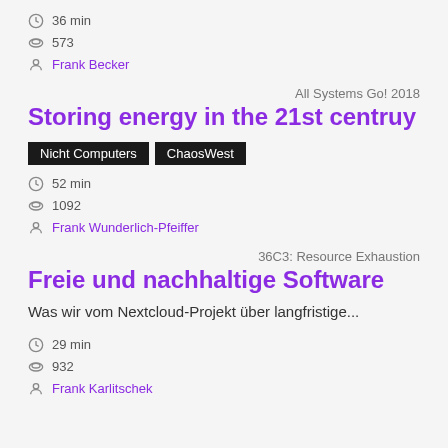36 min
573
Frank Becker
All Systems Go! 2018
Storing energy in the 21st centruy
Nicht Computers  ChaosWest
52 min
1092
Frank Wunderlich-Pfeiffer
36C3: Resource Exhaustion
Freie und nachhaltige Software
Was wir vom Nextcloud-Projekt über langfristige...
29 min
932
Frank Karlitschek